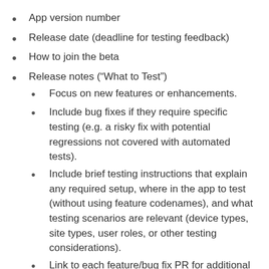App version number
Release date (deadline for testing feedback)
How to join the beta
Release notes (“What to Test”)
Focus on new features or enhancements.
Include bug fixes if they require specific testing (e.g. a risky fix with potential regressions not covered with automated tests).
Include brief testing instructions that explain any required setup, where in the app to test (without using feature codenames), and what testing scenarios are relevant (device types, site types, user roles, or other testing considerations).
Link to each feature/bug fix PR for additional context.
Include a link to the release milestone for